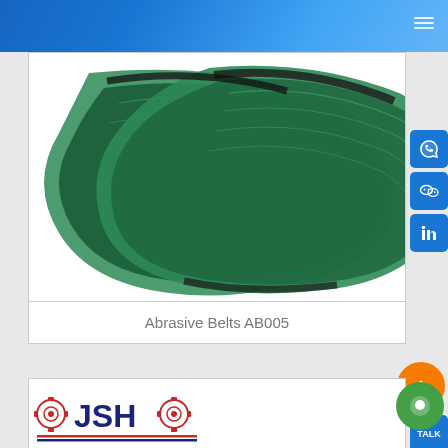[Figure (photo): Two green abrasive sanding belts looped and overlapping on white background]
Abrasive Belts AB005
[Figure (logo): JSH logo with red circular gear icons and red/blue double underline]
[Figure (other): Social media buttons: WhatsApp, WeChat, LinkedIn, orange scroll-to-top button, KakaoTalk button, green chat bubble button]